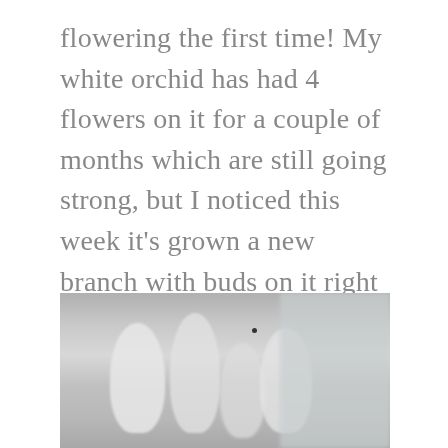flowering the first time! My white orchid has had 4 flowers on it for a couple of months which are still going strong, but I noticed this week it’s grown a new branch with buds on it right next to one of the flowers. They are strange creatures.
[Figure (photo): Black and white close-up photograph of white orchid buds, blurred background with vertical shapes resembling flower stems and buds]